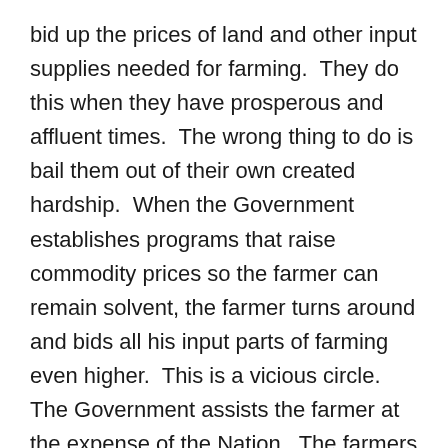bid up the prices of land and other input supplies needed for farming.  They do this when they have prosperous and affluent times.  The wrong thing to do is bail them out of their own created hardship.  When the Government establishes programs that raise commodity prices so the farmer can remain solvent, the farmer turns around and bids all his input parts of farming even higher.  This is a vicious circle.  The Government assists the farmer at the expense of the Nation.  The farmers use the assistance to recreate the same problem again.
Farmers should not be rewarded for mismanagement.  They are being rewarded for mismanagement at the expense of all other Producers in the Society and Nation.